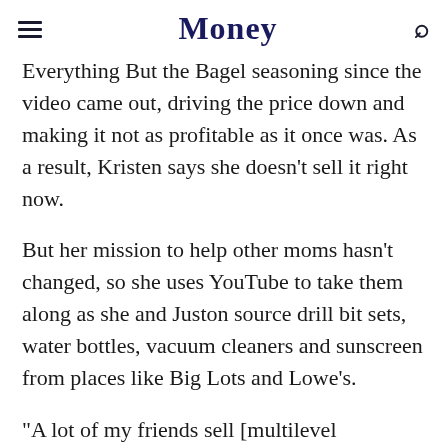Money
Everything But the Bagel seasoning since the video came out, driving the price down and making it not as profitable as it once was. As a result, Kristen says she doesn't sell it right now.
But her mission to help other moms hasn't changed, so she uses YouTube to take them along as she and Juston source drill bit sets, water bottles, vacuum cleaners and sunscreen from places like Big Lots and Lowe's.
"A lot of my friends sell [multilevel